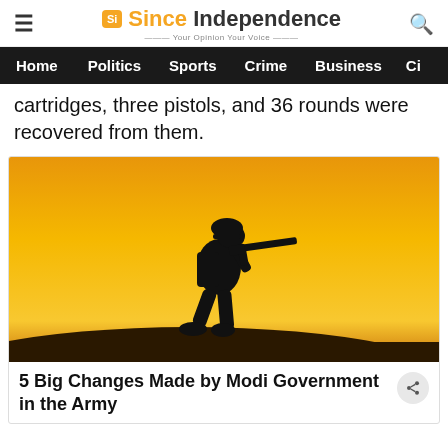Since Independence — Your Opinion Your Voice
cartridges, three pistols, and 36 rounds were recovered from them.
[Figure (photo): Silhouette of a soldier in full combat gear aiming a rifle against an orange/yellow background]
5 Big Changes Made by Modi Government in the Army